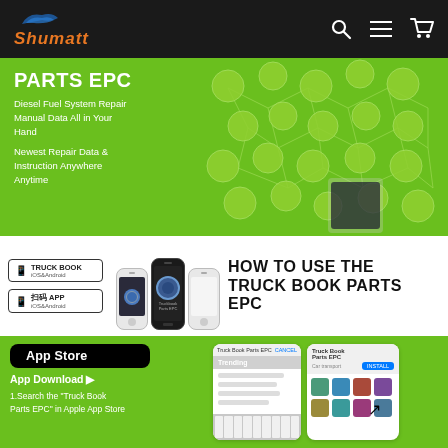[Figure (logo): Shumatt logo with orange text and blue flame/car icon on dark header bar]
[Figure (infographic): PARTS EPC green banner showing diesel fuel system parts in bubbles connected by network lines, with text: PARTS EPC, Diesel Fuel System Repair Manual Data All in Your Hand, Newest Repair Data & Instruction Anywhere Anytime]
[Figure (infographic): HOW TO USE THE TRUCK BOOK PARTS EPC section showing phone app mockups and two app store badges (TRUCK BOOK iOS&Android, QR code APP iOS&Android)]
[Figure (screenshot): App Store download section on green background showing App Store button, App Download arrow, instruction text '1.Search the Truck Book Parts EPC in Apple App Store', and two phone screen mockups showing Trending search and app install screens]